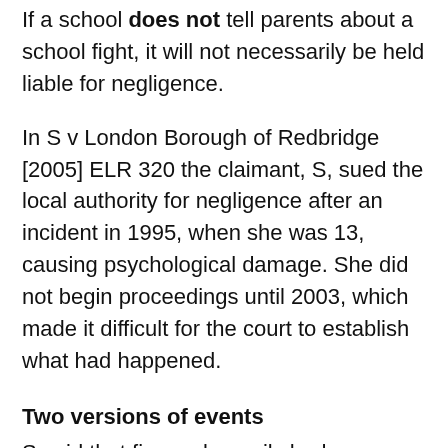If a school does not tell parents about a school fight, it will not necessarily be held liable for negligence.
In S v London Borough of Redbridge [2005] ELR 320 the claimant, S, sued the local authority for negligence after an incident in 1995, when she was 13, causing psychological damage. She did not begin proceedings until 2003, which made it difficult for the court to establish what had happened.
Two versions of events
S said that five male pupils had indecently assaulted her. In a statement (her second)